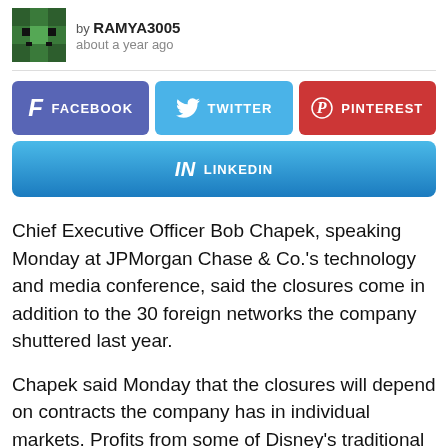by RAMYA3005
about a year ago
[Figure (infographic): Social sharing buttons: Facebook (purple), Twitter (blue), Pinterest (red), LinkedIn (blue gradient)]
Chief Executive Officer Bob Chapek, speaking Monday at JPMorgan Chase & Co.'s technology and media conference, said the closures come in addition to the 30 foreign networks the company shuttered last year.
Chapek said Monday that the closures will depend on contracts the company has in individual markets. Profits from some of Disney's traditional TV networks are helping pay for programming that can run on its